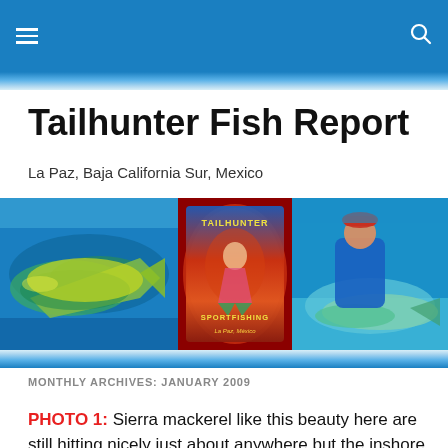Navigation bar with hamburger menu and search icon
Tailhunter Fish Report
La Paz, Baja California Sur, Mexico
[Figure (photo): Three-panel banner: left panel shows a mahi-mahi fish underwater with blue and green tones; center panel shows the Tailhunter Sportfishing logo with a mermaid, La Paz Mexico; right panel shows a person handling a large fish in shallow turquoise water.]
MONTHLY ARCHIVES: JANUARY 2009
PHOTO 1: Sierra mackerel like this beauty here are still hitting nicely just about anywhere but the inshore reef, shoals and beaches seem to be the best holding spots for